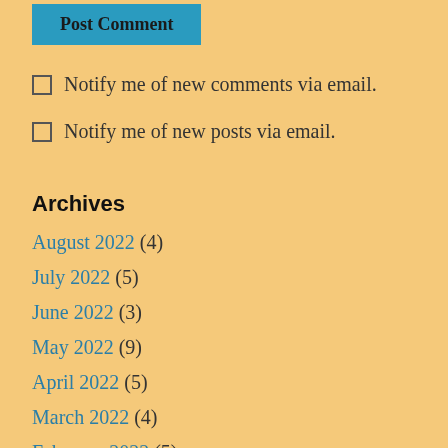Post Comment
Notify me of new comments via email.
Notify me of new posts via email.
Archives
August 2022 (4)
July 2022 (5)
June 2022 (3)
May 2022 (9)
April 2022 (5)
March 2022 (4)
February 2022 (5)